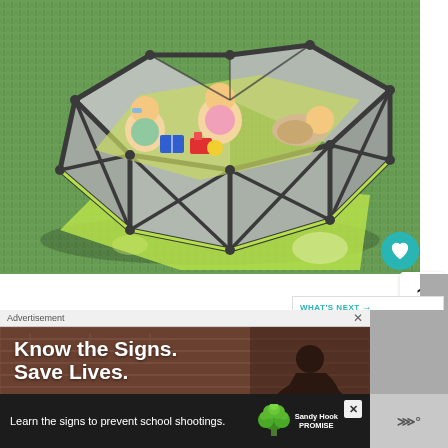[Figure (photo): Three babies playing inside a hexagonal gray portable playpen/play yard on green grass. The playpen has a gray mesh fabric and dark gray frame with X-pattern supports. A green mat is inside. The babies are playing with colorful toys.]
[Figure (other): WHAT'S NEXT panel with teal arrow text and thumbnail of a gray baby product (Graco), with text 'Save 30% on the Graco...']
[Figure (photo): Advertisement banner with dark background showing text 'Know the Signs. Save Lives.' with a figure of a person sitting against a wall.]
[Figure (other): Bottom advertisement banner: 'Learn the signs to prevent school shootings.' with Sandy Hook Promise logo (green tree with circular leaves).]